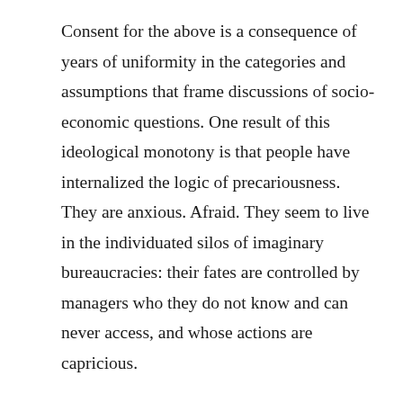Consent for the above is a consequence of years of uniformity in the categories and assumptions that frame discussions of socio-economic questions. One result of this ideological monotony is that people have internalized the logic of precariousness. They are anxious. Afraid. They seem to live in the individuated silos of imaginary bureaucracies: their fates are controlled by managers who they do not know and can never access, and whose actions are capricious.
The soft authoritarian regime of the US has created a largely depoliticized population that has retreated into the private sphere and which tries to fashion spaces of autonomy within it. The retreat into the private sphere has rendered people invisible.